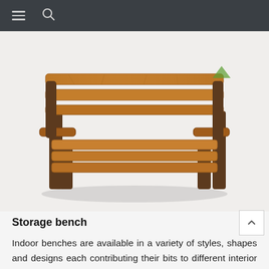≡  🔍
[Figure (photo): A rustic wooden garden/park bench with horizontal slats on the back and seat, dark brown legs and armrests, photographed on a light background.]
Storage bench
Indoor benches are available in a variety of styles, shapes and designs each contributing their bits to different interior styles. One can simply place a large wooden storage bench near their door, in their living room or near their mirror and store things accordingly. Not only are they flexible to use but also spacious, acting as a loud or simple furniture addition to